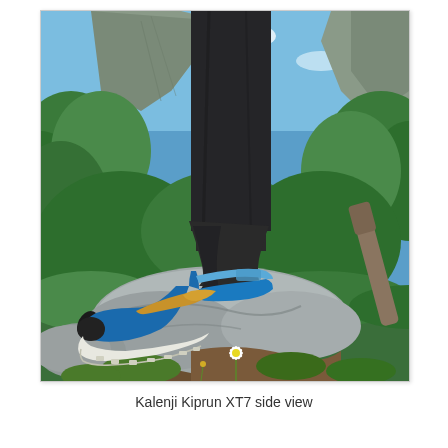[Figure (photo): A close-up outdoor photo of a person wearing black pants and a blue and gold Kalenji Kiprun XT7 trail running/hiking shoe, standing on a rocky surface. Green mountainous landscape with trees and rocky cliffs visible in the background under a partly cloudy blue sky. A small white daisy flower is visible in the lower center foreground.]
Kalenji Kiprun XT7 side view